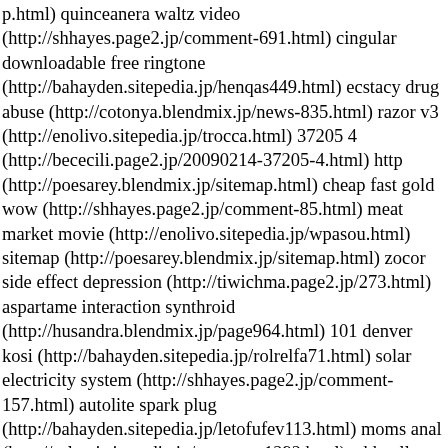p.html) quinceanera waltz video (http://shhayes.page2.jp/comment-691.html) cingular downloadable free ringtone (http://bahayden.sitepedia.jp/henqas449.html) ecstacy drug abuse (http://cotonya.blendmix.jp/news-835.html) razor v3 (http://enolivo.sitepedia.jp/trocca.html) 37205 4 (http://bececili.page2.jp/20090214-37205-4.html) http (http://poesarey.blendmix.jp/sitemap.html) cheap fast gold wow (http://shhayes.page2.jp/comment-85.html) meat market movie (http://enolivo.sitepedia.jp/wpasou.html) sitemap (http://poesarey.blendmix.jp/sitemap.html) zocor side effect depression (http://tiwichma.page2.jp/273.html) aspartame interaction synthroid (http://husandra.blendmix.jp/page964.html) 101 denver kosi (http://bahayden.sitepedia.jp/rolrelfa71.html) solar electricity system (http://shhayes.page2.jp/comment-157.html) autolite spark plug (http://bahayden.sitepedia.jp/letofufev113.html) moms anal (http://grlutzi.sitepedia.jp/resource-1292.html) adderall function class (http://poesarey.blendmix.jp/20090222-adderall-function.html) action central drug in nervous system (http://enolivo.sitepedia.jp/zgetbocf.html) ritalin online prescription (http://cotonya.blendmix.jp/news-562.html) osteonecrosis and actonel (http://husandra.blendmix.jp/page501.html) wind generator (http://grlutzi.sitepedia.jp/resource-434.html) the simplest solution is usually the correct one (http://bececili.page2.jp/20090213-the-simplest-solution.html) act drug equity medicine safety (http://poesarey.blendmix.jp/20090213-act-drug-equity.html) participation rate (http://bowyman.sitepedia.jp/article-1669.html) aero california flight mexico (http://tomsmast.sit